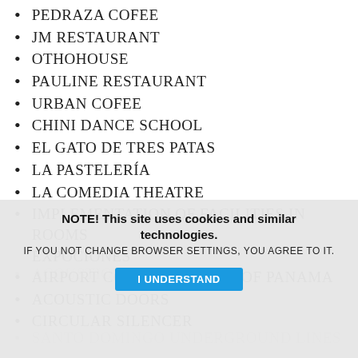PEDRAZA COFEE
JM RESTAURANT
OTHOHOUSE
PAULINE RESTAURANT
URBAN COFEE
CHINI DANCE SCHOOL
EL GATO DE TRES PATAS
LA PASTELERÍA
LA COMEDIA THEATRE
IMPLEMENTATION OF FACILITIES IN ROOMS EXPOCIONES
AIRPORT CONTROL TOWER OF PANAMA
ACOUSTIC DOORS
CIRCULAR SILENCER
ACOUSTIC C...
SANTO DOMINGO UNDERGROUND LINES
(partially visible)
NOTE! This site uses cookies and similar technologies.
IF YOU NOT CHANGE BROWSER SETTINGS, YOU AGREE TO IT.